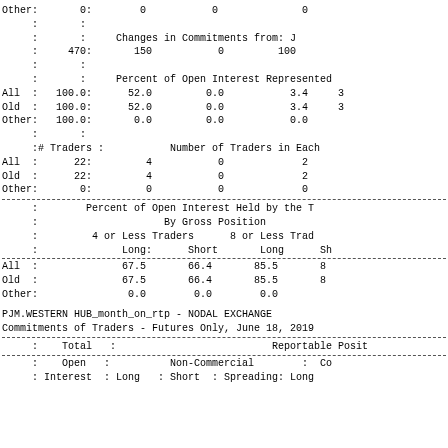| Other: |  | 0: |  | 0 | 0 |  | 0 |
|  | : |  | : |  |  |  |  |
|  | : |  | : | Changes in Commitments from: J |  |  |  |
|  | : | 470: |  | 150 | 0 | 100 |  |
|  | : |  | : |  |  |  |  |
|  | : |  | : | Percent of Open Interest Represented |  |  |  |
| All | : | 100.0: |  | 52.0 | 0.0 | 3.4 | 3 |
| Old | : | 100.0: |  | 52.0 | 0.0 | 3.4 | 3 |
| Other: |  | 100.0: |  | 0.0 | 0.0 | 0.0 |  |
|  | : |  | : |  |  |  |  |
|  | :# Traders | : |  | Number of Traders in Each |  |  |  |
| All | : | 22: |  | 4 | 0 | 2 |  |
| Old | : | 22: |  | 4 | 0 | 2 |  |
| Other: |  | 0: |  | 0 | 0 | 0 |  |
|  | : | Percent of Open Interest Held by the T |  |  |  |
|  | : | By Gross Position |  |  |  |
|  | : | 4 or Less Traders |  | 8 or Less Trad |  |  |
|  | : | Long: | Short | Long | Sh |  |
| All | : | 67.5 | 66.4 | 85.5 | 8 |
| Old | : | 67.5 | 66.4 | 85.5 | 8 |
| Other: |  | 0.0 | 0.0 | 0.0 |  |
PJM.WESTERN HUB_month_on_rtp - NODAL EXCHANGE
Commitments of Traders - Futures Only, June 18, 2019
|  | : | Total | : |  |  | Reportable Posit |
|  | : | Open | : |  | Non-Commercial | : | Co |
|  | : | Interest | : | Long | : | Short | : | Spreading: | Long |